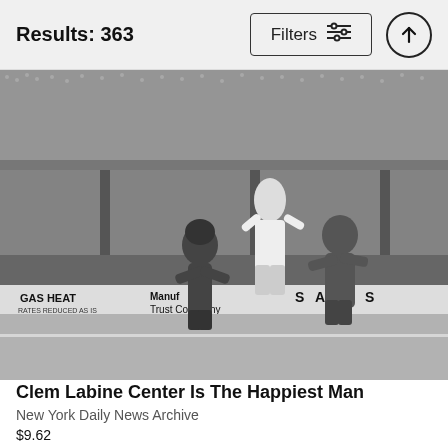Results: 363
[Figure (photo): Black and white photograph of baseball players celebrating on a field. A packed stadium crowd is visible in the background. Advertisements for GAS HEAT and Manufacturers Trust Company are visible on the outfield wall. Three players are shown, one being lifted by the others. This appears to be a historic mid-20th century baseball game.]
Clem Labine Center Is The Happiest Man
New York Daily News Archive
$9.62